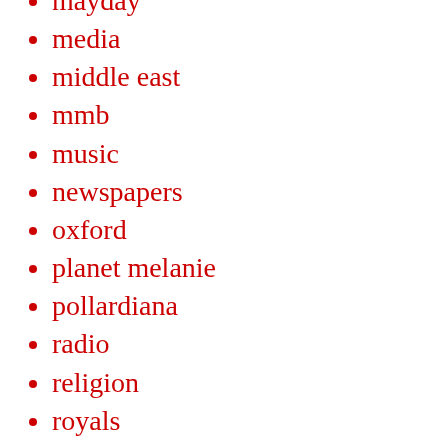mayday
media
middle east
mmb
music
newspapers
oxford
planet melanie
pollardiana
radio
religion
royals
rugby
serials
sex and gender
splendid / rubbish / nonsense
sport